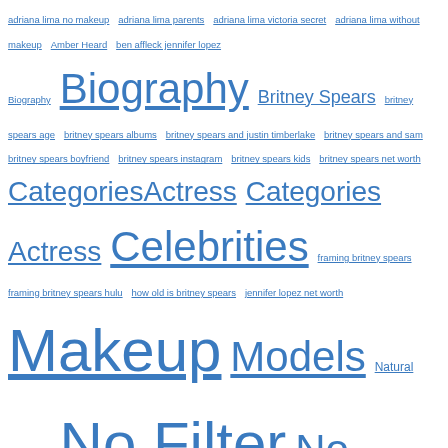adriana lima no makeup adriana lima parents adriana lima victoria secret adriana lima without makeup Amber Heard ben affleck jennifer lopez Biography Britney Spears britney spears age britney spears albums britney spears and justin timberlake britney spears and sam britney spears boyfriend britney spears instagram britney spears kids britney spears net worth CategoriesActress Categories Actress Celebrities framing britney spears framing britney spears hulu how old is britney spears jennifer lopez net worth Makeup Models Natural Makeup No Filter No Makeup Other Posts Simple Bridal Makeup Singer Stars toxic britney spears Wedding Makeup what happened to britney spears Without Makeup Without